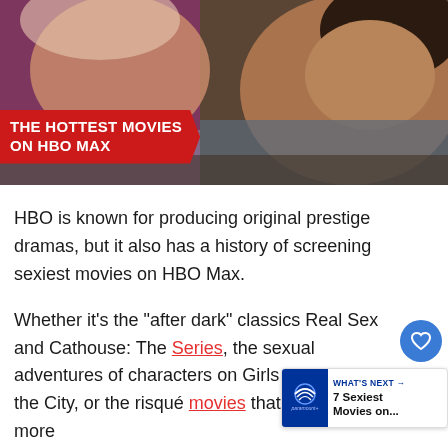[Figure (photo): Close-up photo of two people in an intimate scene with a red banner overlay reading 'THE HOTTEST MOVIES ON HBO MAX']
HBO is known for producing original prestige dramas, but it also has a history of screening sexiest movies on HBO Max.
Whether it’s the “after dark” classics Real Sex and Cathouse: The Series, the sexual adventures of characters on Girls and Sex and the City, or the risqué movies that would be more...